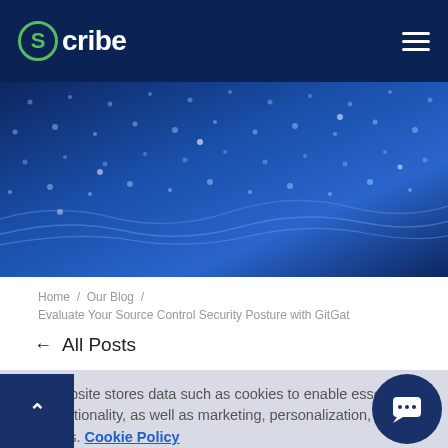Scribe
[Figure (illustration): Abstract blue digital network dot pattern hero banner image]
Home / Our Blog / Evaluate Your Source Control Security Posture with GitGat
← All Posts
This website stores data such as cookies to enable essential site functionality, as well as marketing, personalization, and analytics. Cookie Policy
Accept
Deny